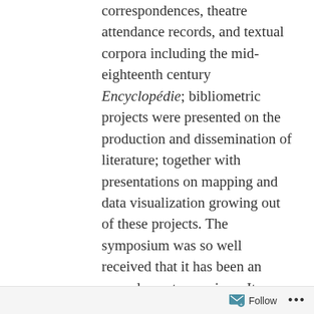correspondences, theatre attendance records, and textual corpora including the mid-eighteenth century Encyclopédie; bibliometric projects were presented on the production and dissemination of literature; together with presentations on mapping and data visualization growing out of these projects. The symposium was so well received that it has been an annual event ever since. It was held at Radboud University in Nijmegen (2017), Oxford (2018), Edinburgh (2019). In 2020, but for COVID-19, it would have been held in Montpellier.
It was not entirely by chance that such a project coalesced around the guiding notion of the 'Enlightenment'. For the long eighteenth century has been blessed by a number of high-profile
Follow